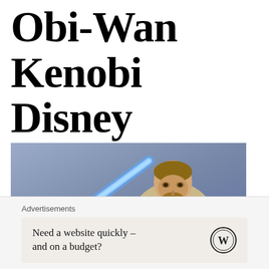Obi-Wan Kenobi Disney Plus Review (Spoilers)
[Figure (photo): Ewan McGregor as Obi-Wan Kenobi wielding a blue lightsaber, wearing beige Jedi robes, against a grey-blue background]
Advertisements
Need a website quickly – and on a budget?